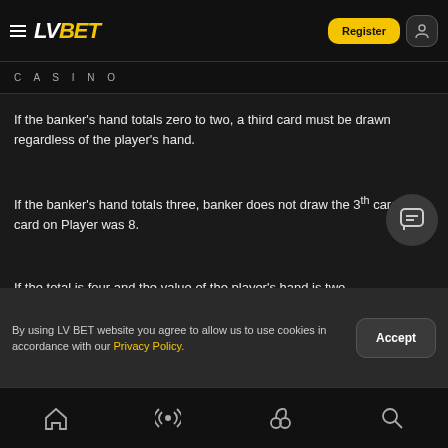LV BET CASINO
If the banker's hand totals zero to two, a third card must be drawn regardless of the player's hand.
If the banker's hand totals three, banker does not draw the 3th card if the card on Player was 8.
If the total is four and the value of the player's hand is two to … then a third card is drawn.
By using LV BET website you agree to allow us to use cookies in accordance with our Privacy Policy.
Home | Live | Slots | Search